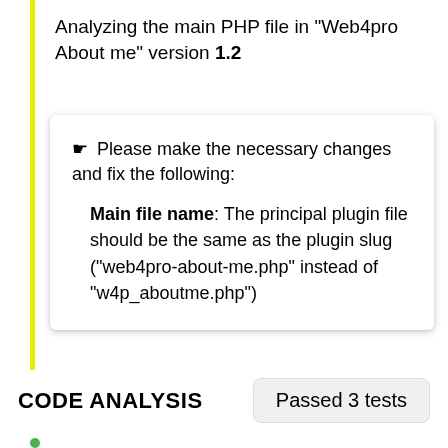Analyzing the main PHP file in "Web4pro About me" version 1.2
☛ Please make the necessary changes and fix the following: Main file name: The principal plugin file should be the same as the plugin slug ("web4pro-about-me.php" instead of "w4p_aboutme.php")
CODE ANALYSIS
Passed 3 tests